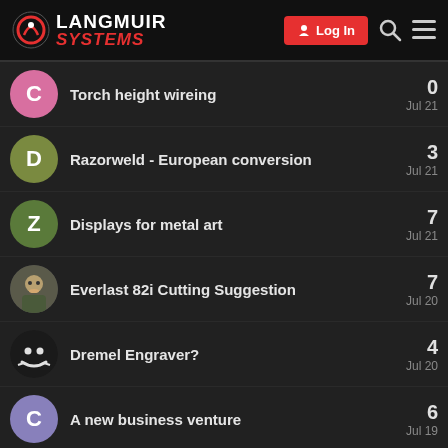Langmuir Systems — Log In
Torch height wireing — 0 replies — Jul 21
Razorweld - European conversion — 3 replies — Jul 21
Displays for metal art — 7 replies — Jul 21
Everlast 82i Cutting Suggestion — 7 replies — Jul 20
Dremel Engraver? — 4 replies — Jul 20
A new business venture — 6 replies — Jul 19
Recycling of Consumable — (partial)